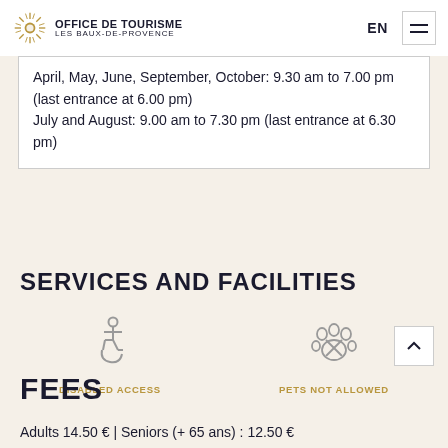Office de Tourisme Les Baux-de-Provence | EN
April, May, June, September, October: 9.30 am to 7.00 pm (last entrance at 6.00 pm) July and August: 9.00 am to 7.30 pm (last entrance at 6.30 pm)
SERVICES AND FACILITIES
[Figure (illustration): Disabled access icon (wheelchair symbol)]
DISABLED ACCESS
[Figure (illustration): Pets not allowed icon (paw with X)]
PETS NOT ALLOWED
FEES
Adults 14.50 € | Seniors (+ 65 ans): 12.50 €